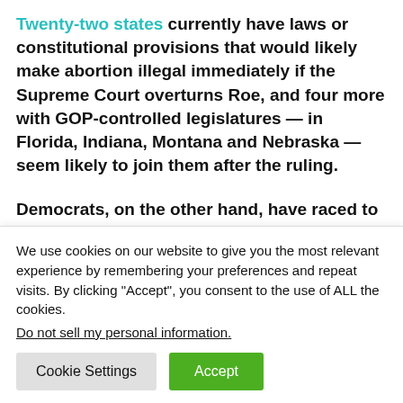Twenty-two states currently have laws or constitutional provisions that would likely make abortion illegal immediately if the Supreme Court overturns Roe, and four more with GOP-controlled legislatures — in Florida, Indiana, Montana and Nebraska — seem likely to join them after the ruling.
Democrats, on the other hand, have raced to expand abortion rights ahead of the Supreme Court ruling. Colorado Democrats approved a law to explicitly protect abortion rights in March, and Vermont Democrats are pushing a measure
We use cookies on our website to give you the most relevant experience by remembering your preferences and repeat visits. By clicking "Accept", you consent to the use of ALL the cookies.
Do not sell my personal information.